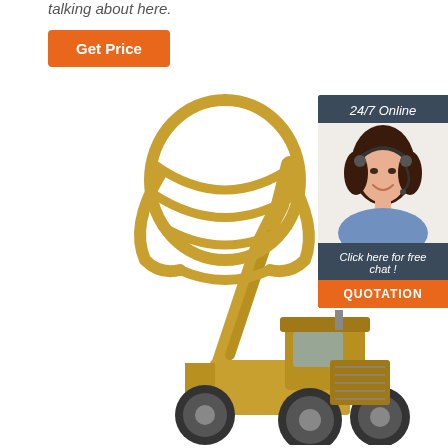talking about here.
Get Price
[Figure (photo): Yellow heavy construction wheel loader machine with large grapple/claw attachment raised up, on white background]
24/7 Online
[Figure (photo): Customer service representative woman with headset smiling]
Click here for free chat !
QUOTATION